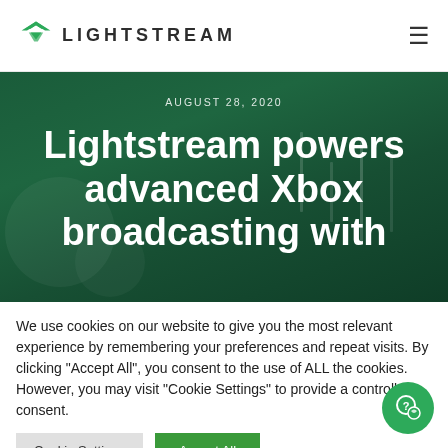[Figure (logo): Lightstream logo with green chevron/triangle mark and LIGHTSTREAM text in dark grey]
AUGUST 28, 2020
Lightstream powers advanced Xbox broadcasting with
We use cookies on our website to give you the most relevant experience by remembering your preferences and repeat visits. By clicking "Accept All", you consent to the use of ALL the cookies. However, you may visit "Cookie Settings" to provide a controlled consent.
Cookie Settings | Accept All